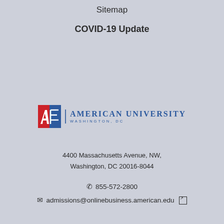Sitemap
COVID-19 Update
[Figure (logo): American University Washington DC logo with red and blue emblem on the left and text 'AMERICAN UNIVERSITY WASHINGTON, DC' on the right]
4400 Massachusetts Avenue, NW,
Washington, DC 20016-8044
855-572-2800
admissions@onlinebusiness.american.edu